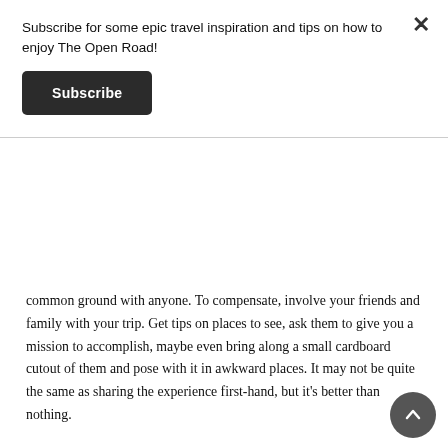Subscribe for some epic travel inspiration and tips on how to enjoy The Open Road!
Subscribe
common ground with anyone.  To compensate, involve your friends and family with your trip.  Get tips on places to see, ask them to give you a mission to accomplish, maybe even bring along a small cardboard cutout of them and pose with it in awkward places.  It may not be quite the same as sharing the experience first-hand, but it's better than nothing.
How'd I do?  If you haven't traveled alone before, do you think you'd be willing to attempt it?  If you have, care to share any tips of your own?  Let me